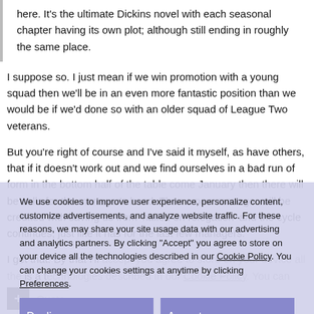here. It's the ultimate Dickins novel with each seasonal chapter having its own plot; although still ending in roughly the same place.
I suppose so. I just mean if we win promotion with a young squad then we'll be in an even more fantastic position than we would be if we'd done so with an older squad of League Two veterans.
But you're right of course and I've said it myself, as have others, that if it doesn't work out and we find ourselves in a bad run of form in the bottom half of the table come January then there will be calls for the manager's head. Then a new manager will be credited with saving us from 'nailed on relegation' and the cycle continues, just like it has for the last few managers.
I get that. By that I'll accept you agree to store on your device all the technologies described in our Cookie Policy. You can change your cookies settings at anytime by clicking Preferences. w lads aren't quite good enough/don't click together, which hopefully they will be.
We use cookies to improve user experience, personalize content, customize advertisements, and analyze website traffic. For these reasons, we may share your site usage data with our advertising and analytics partners. By clicking "Accept" you agree to store on your device all the technologies described in our Cookie Policy. You can change your cookies settings at anytime by clicking Preferences.
Decline
Accept
Preferences
Quote